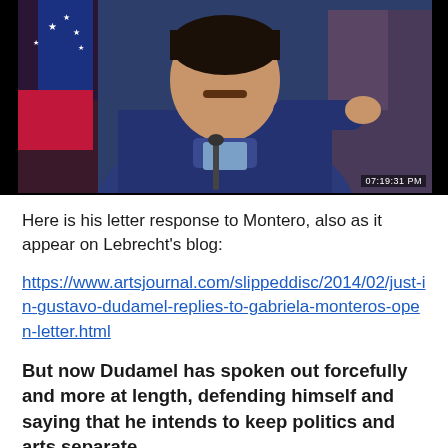[Figure (photo): Screenshot of a man in a dark blue jacket pointing his finger, with a Venezuelan flag visible in the background. Timestamp '07:19:31 PM' visible in lower right corner.]
Here is his letter response to Montero, also as it appear on Lebrecht's blog:
https://www.artsjournal.com/slippeddisc/2014/02/just-in-gustavo-dudamel-replies-to-gabriela-monteros-open-letter.html
But now Dudamel has spoken out forcefully and more at length, defending himself and saying that he intends to keep politics and arts separate.